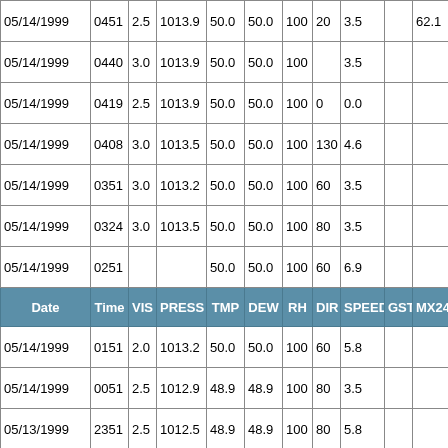| Date | Time | VIS | PRESS | TMP | DEW | RH | DIR | SPEED | GST | MX24 | MN |
| --- | --- | --- | --- | --- | --- | --- | --- | --- | --- | --- | --- |
| 05/14/1999 | 0451 | 2.5 | 1013.9 | 50.0 | 50.0 | 100 | 20 | 3.5 |  | 62.1 | 48. |
| 05/14/1999 | 0440 | 3.0 | 1013.9 | 50.0 | 50.0 | 100 |  | 3.5 |  |  |  |
| 05/14/1999 | 0419 | 2.5 | 1013.9 | 50.0 | 50.0 | 100 | 0 | 0.0 |  |  |  |
| 05/14/1999 | 0408 | 3.0 | 1013.5 | 50.0 | 50.0 | 100 | 130 | 4.6 |  |  |  |
| 05/14/1999 | 0351 | 3.0 | 1013.2 | 50.0 | 50.0 | 100 | 60 | 3.5 |  |  |  |
| 05/14/1999 | 0324 | 3.0 | 1013.5 | 50.0 | 50.0 | 100 | 80 | 3.5 |  |  |  |
| 05/14/1999 | 0251 |  |  | 50.0 | 50.0 | 100 | 60 | 6.9 |  |  |  |
| 05/14/1999 | 0151 | 2.0 | 1013.2 | 50.0 | 50.0 | 100 | 60 | 5.8 |  |  |  |
| 05/14/1999 | 0051 | 2.5 | 1012.9 | 48.9 | 48.9 | 100 | 80 | 3.5 |  |  |  |
| 05/13/1999 | 2351 | 2.5 | 1012.5 | 48.9 | 48.9 | 100 | 80 | 5.8 |  |  |  |
| 05/13/1999 | 2251 | 2.5 | 1012.2 | 50.0 | 50.0 | 100 | 70 | 6.9 |  |  |  |